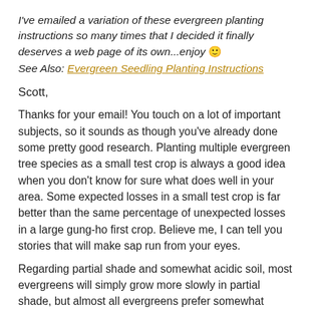I've emailed a variation of these evergreen planting instructions so many times that I decided it finally deserves a web page of its own...enjoy 🙂
See Also: Evergreen Seedling Planting Instructions
Scott,
Thanks for your email! You touch on a lot of important subjects, so it sounds as though you've already done some pretty good research. Planting multiple evergreen tree species as a small test crop is always a good idea when you don't know for sure what does well in your area. Some expected losses in a small test crop is far better than the same percentage of unexpected losses in a large gung-ho first crop. Believe me, I can tell you stories that will make sap run from your eyes.
Regarding partial shade and somewhat acidic soil, most evergreens will simply grow more slowly in partial shade, but almost all evergreens prefer somewhat